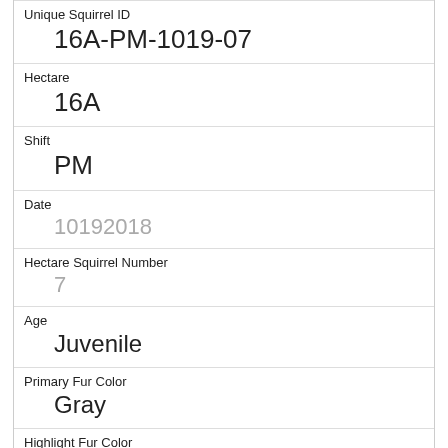| Unique Squirrel ID | 16A-PM-1019-07 |
| Hectare | 16A |
| Shift | PM |
| Date | 10192018 |
| Hectare Squirrel Number | 7 |
| Age | Juvenile |
| Primary Fur Color | Gray |
| Highlight Fur Color | Cinnamon, White |
| Combination of Primary and Highlight Color | Gray+Cinnamon, White |
| Color notes |  |